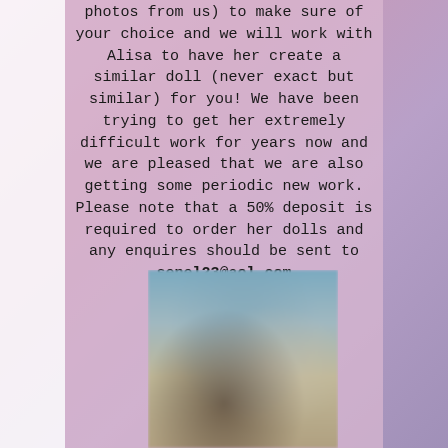photos from us) to make sure of your choice and we will work with Alisa to have her create a similar doll (never exact but similar) for you! We have been trying to get her extremely difficult work for years now and we are pleased that we are also getting some periodic new work.
Please note that a 50% deposit is required to order her dolls and any enquires should be sent to senel23@aol.com
[Figure (photo): A blurred photograph, likely showing a doll or figurine with dark hair against a light background with soft focus.]